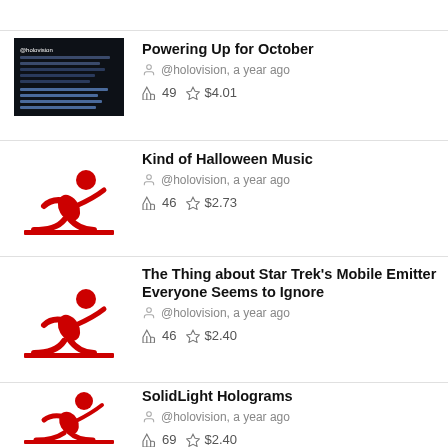[Figure (screenshot): Thumbnail of dark-themed blog post 'Powering Up for October']
Powering Up for October
@holovision, a year ago
49  $4.01
[Figure (logo): Red running figure logo thumbnail for Kind of Halloween Music]
Kind of Halloween Music
@holovision, a year ago
46  $2.73
[Figure (logo): Red running figure logo thumbnail for The Thing about Star Trek's Mobile Emitter]
The Thing about Star Trek's Mobile Emitter Everyone Seems to Ignore
@holovision, a year ago
46  $2.40
[Figure (logo): Red running figure logo thumbnail for SolidLight Holograms]
SolidLight Holograms
@holovision, a year ago
69  $2.40